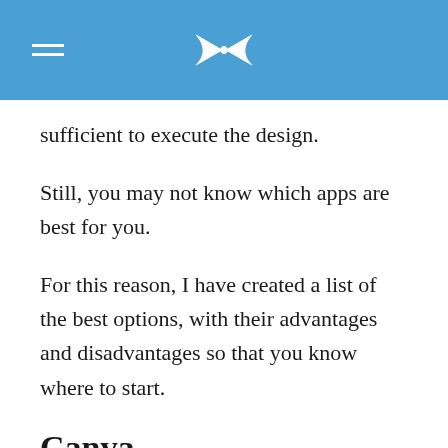sufficient to execute the design.
Still, you may not know which apps are best for you.
For this reason, I have created a list of the best options, with their advantages and disadvantages so that you know where to start.
Canva